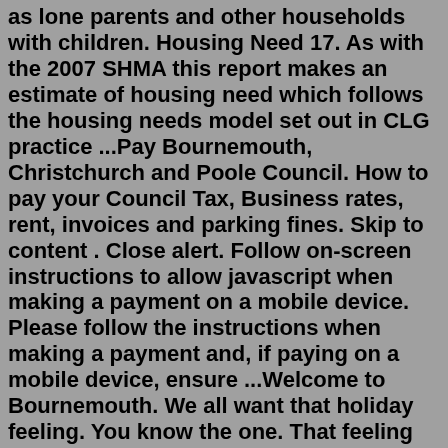as lone parents and other households with children. Housing Need 17. As with the 2007 SHMA this report makes an estimate of housing need which follows the housing needs model set out in CLG practice ...Pay Bournemouth, Christchurch and Poole Council. How to pay your Council Tax, Business rates, rent, invoices and parking fines. Skip to content . Close alert. Follow on-screen instructions to allow javascript when making a payment on a mobile device. Please follow the instructions when making a payment and, if paying on a mobile device, ensure ...Welcome to Bournemouth. We all want that holiday feeling. You know the one. That feeling that you're somewhere else, away from the daily grind, able to truly relax. It's the feeling of the first cold drink in the bar after a hot day in the sun. The feeling of watching the kids having fun on the beach while you lie back with a good book, the ...Rent your garage for storage. Enjoy hassle-free payments and always get paid on time when renting your garage with Stashbee. We also require ID verification from renters to give you extra